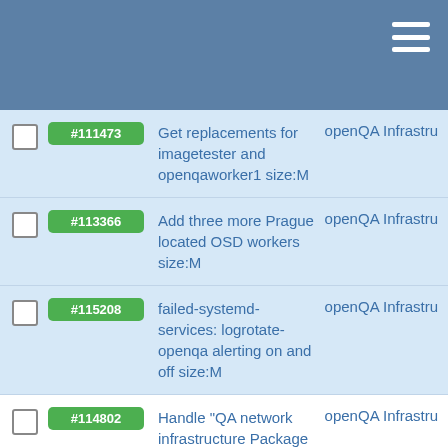#111473 Get replacements for imagetester and openqaworker1 size:M openQA Infrastru
#113366 Add three more Prague located OSD workers size:M openQA Infrastru
#115208 failed-systemd-services: logrotate-openqa alerting on and off size:M openQA Infrastru
#114802 Handle "QA network infrastructure Package loss alert" introduced by #113746 size:M openQA Infrastru
#111171 Handle installation of new FC switch size:M openQA Infrastru
#113671 [timeboxed][10h] Configure openQA Infrastru